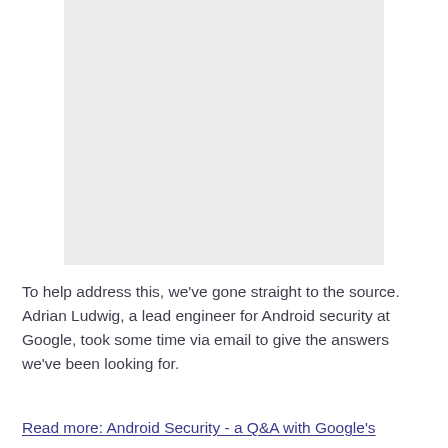[Figure (photo): A light gray rectangular placeholder image at the top center of the page.]
To help address this, we've gone straight to the source. Adrian Ludwig, a lead engineer for Android security at Google, took some time via email to give the answers we've been looking for.
Read more: Android Security - a Q&A with Google's